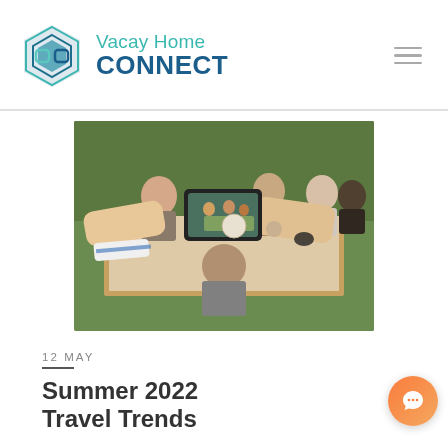[Figure (logo): VacayHome Connect logo with hexagonal icon and teal text]
[Figure (photo): Person photographing a multi-generational family gathered around an outdoor dining table]
12 MAY
Summer 2022 Travel Trends